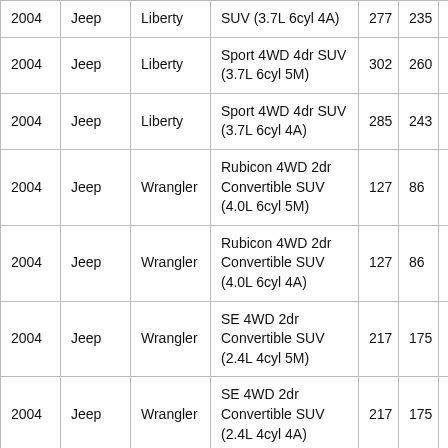| 2004 | Jeep | Liberty | SUV (3.7L 6cyl 4A) | 277 | 235 | 250 |
| 2004 | Jeep | Liberty | Sport 4WD 4dr SUV (3.7L 6cyl 5M) | 302 | 260 | 275 |
| 2004 | Jeep | Liberty | Sport 4WD 4dr SUV (3.7L 6cyl 4A) | 285 | 243 | 258 |
| 2004 | Jeep | Wrangler | Rubicon 4WD 2dr Convertible SUV (4.0L 6cyl 5M) | 127 | 86 | 101 |
| 2004 | Jeep | Wrangler | Rubicon 4WD 2dr Convertible SUV (4.0L 6cyl 4A) | 127 | 86 | 101 |
| 2004 | Jeep | Wrangler | SE 4WD 2dr Convertible SUV (2.4L 4cyl 5M) | 217 | 175 | 190 |
| 2004 | Jeep | Wrangler | SE 4WD 2dr Convertible SUV (2.4L 4cyl 4A) | 217 | 175 | 190 |
| 2004 | Jeep | Wrangler | Sahara 4WD 2dr Convertible | 137 | 96 | 111 |